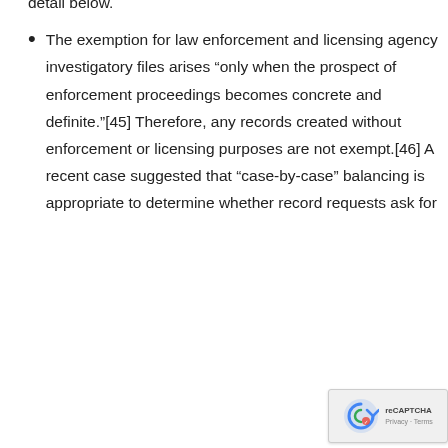information required to be made public is discussed in more detail below.
The exemption for law enforcement and licensing agency investigatory files arises “only when the prospect of enforcement proceedings becomes concrete and definite.”[45] Therefore, any records created without enforcement or licensing purposes are not exempt.[46] A recent case suggested that “case-by-case” balancing is appropriate to determine whether record requests ask for